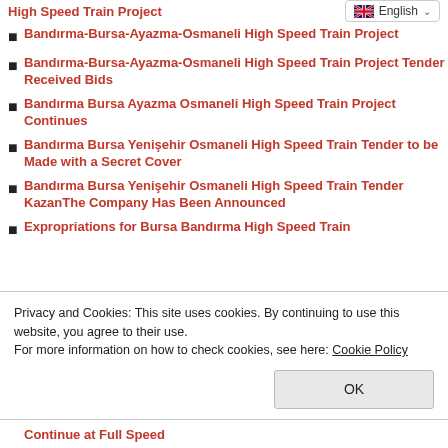High Speed Train Project
Bandırma-Bursa-Ayazma-Osmaneli High Speed Train Project
Bandırma-Bursa-Ayazma-Osmaneli High Speed Train Project Tender Received Bids
Bandırma Bursa Ayazma Osmaneli High Speed Train Project Continues
Bandırma Bursa Yenişehir Osmaneli High Speed Train Tender to be Made with a Secret Cover
Bandırma Bursa Yenişehir Osmaneli High Speed Train Tender KazanThe Company Has Been Announced
Expropriations for Bursa Bandırma High Speed Train
Privacy and Cookies: This site uses cookies. By continuing to use this website, you agree to their use. For more information on how to check cookies, see here: Cookie Policy
Continue at Full Speed